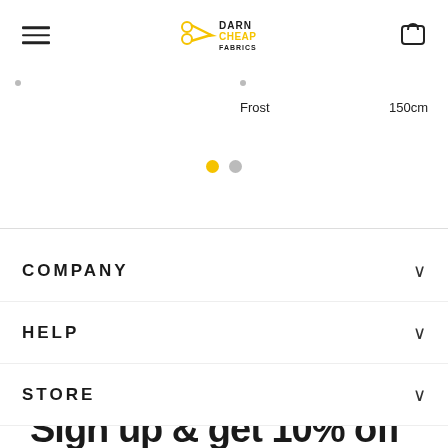[Figure (logo): Darn Cheap Fabrics logo with scissors icon and yellow/black text]
Frost
150cm
COMPANY
HELP
STORE
Sign up & get 10% off